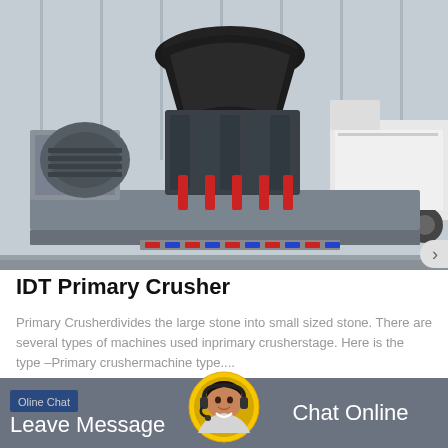[Figure (photo): Industrial IDT Primary Crusher machine mounted on a flatbed trailer inside a warehouse/industrial facility. The crusher has a large black conical head with red hydraulic cylinders, an electric motor on the left, and is sitting on a heavy steel base frame. A white multi-axle truck is visible in the background.]
IDT Primary Crusher
Primary Crusherdivides the large stone into small sized stone. There are several types of machines used inprimary crusherstage. Here is the type –Primary crushermachine type....
Oline Chat
Leave Message
Chat Online